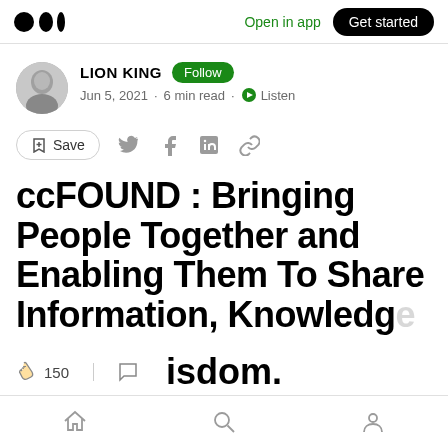Medium logo | Open in app | Get started
LION KING · Follow · Jun 5, 2021 · 6 min read · Listen
Save (social share icons)
ccFOUND : Bringing People Together and Enabling Them To Share Information, Knowledge, and Wisdom.
150 claps | comments | Home | Search | Profile